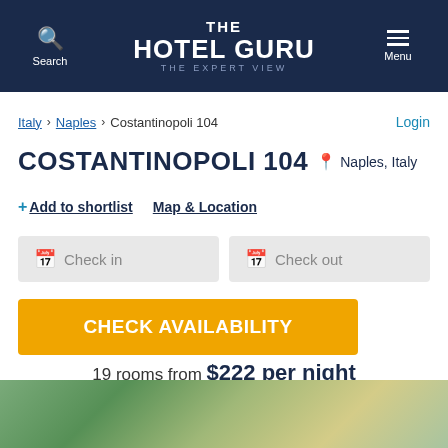THE HOTEL GURU — The Expert View
Italy > Naples > Costantinopoli 104   Login
COSTANTINOPOLI 104  Naples, Italy
+ Add to shortlist   Map & Location
Check in   Check out
CHECK AVAILABILITY
19 rooms from $222 per night
[Figure (photo): Partial bottom photo strip showing hotel exterior with trees and garden]